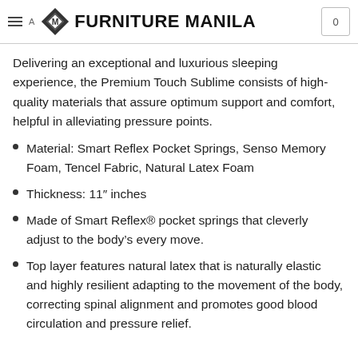FURNITURE MANILA
Delivering an exceptional and luxurious sleeping experience, the Premium Touch Sublime consists of high-quality materials that assure optimum support and comfort, helpful in alleviating pressure points.
Material: Smart Reflex Pocket Springs, Senso Memory Foam, Tencel Fabric, Natural Latex Foam
Thickness: 11" inches
Made of Smart Reflex® pocket springs that cleverly adjust to the body's every move.
Top layer features natural latex that is naturally elastic and highly resilient adapting to the movement of the body, correcting spinal alignment and promotes good blood circulation and pressure relief.